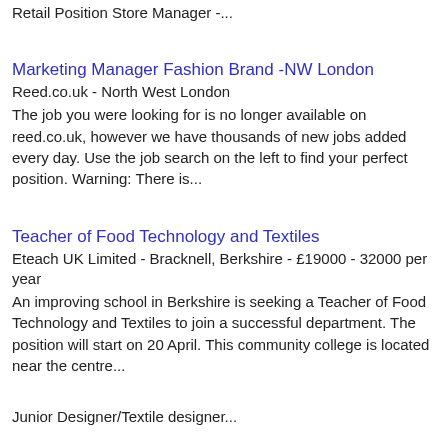Retail Position Store Manager -...
Marketing Manager Fashion Brand -NW London
Reed.co.uk - North West London
The job you were looking for is no longer available on reed.co.uk, however we have thousands of new jobs added every day. Use the job search on the left to find your perfect position. Warning: There is...
Teacher of Food Technology and Textiles
Eteach UK Limited - Bracknell, Berkshire - £19000 - 32000 per year
An improving school in Berkshire is seeking a Teacher of Food Technology and Textiles to join a successful department. The position will start on 20 April. This community college is located near the centre...
Junior Designer/Textile designer...